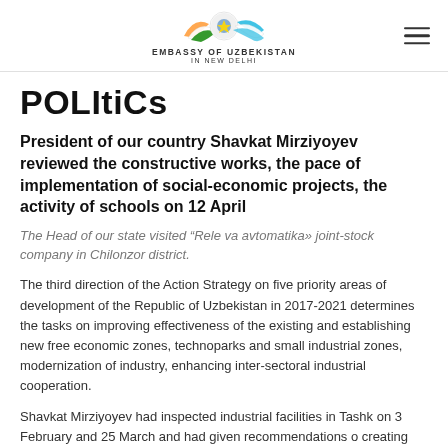[Figure (logo): Embassy of Uzbekistan in New Delhi logo with colorful ribbon and emblem]
POLItiCs
President of our country Shavkat Mirziyoyev reviewed the constructive works, the pace of implementation of social-economic projects, the activity of schools on 12 April
The Head of our state visited “Rele va avtomatika» joint-stock company in Chilonzor district.
The third direction of the Action Strategy on five priority areas of development of the Republic of Uzbekistan in 2017-2021 determines the tasks on improving effectiveness of the existing and establishing new free economic zones, technoparks and small industrial zones, modernization of industry, enhancing inter-sectoral industrial cooperation.
Shavkat Mirziyoyev had inspected industrial facilities in Tashk on 3 February and 25 March and had given recommendations o creating necessary conditions for effective activity of companies